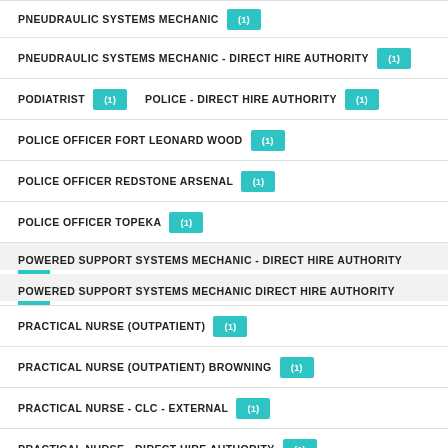PNEUDRAULIC SYSTEMS MECHANIC (1)
PNEUDRAULIC SYSTEMS MECHANIC - DIRECT HIRE AUTHORITY (1)
PODIATRIST (1)   POLICE - DIRECT HIRE AUTHORITY (1)
POLICE OFFICER FORT LEONARD WOOD (1)
POLICE OFFICER REDSTONE ARSENAL (1)
POLICE OFFICER TOPEKA (1)
POWERED SUPPORT SYSTEMS MECHANIC - DIRECT HIRE AUTHORITY
POWERED SUPPORT SYSTEMS MECHANIC DIRECT HIRE AUTHORITY
PRACTICAL NURSE (OUTPATIENT) (1)
PRACTICAL NURSE (OUTPATIENT) BROWNING (1)
PRACTICAL NURSE - CLC - EXTERNAL (1)
PRACTICAL NURSE - DIRECT HIRE AUTHORITY (1)
PRACTICAL NURSE SISSETON (1)